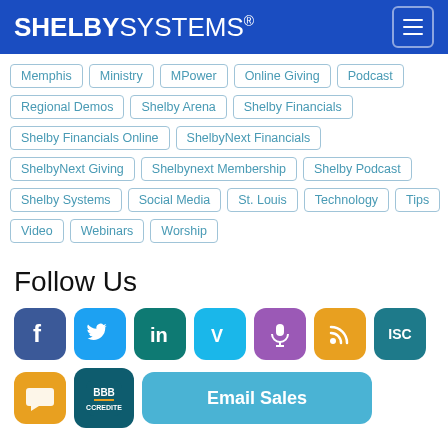SHELBY SYSTEMS®
Memphis
Ministry
MPower
Online Giving
Podcast
Regional Demos
Shelby Arena
Shelby Financials
Shelby Financials Online
ShelbyNext Financials
ShelbyNext Giving
Shelbynext Membership
Shelby Podcast
Shelby Systems
Social Media
St. Louis
Technology
Tips
Video
Webinars
Worship
Follow Us
[Figure (infographic): Social media icons: Facebook, Twitter, LinkedIn, Vimeo, Podcast (microphone), RSS feed, ISC. Second row: chat bubble icon, BBB icon, Email Sales button.]